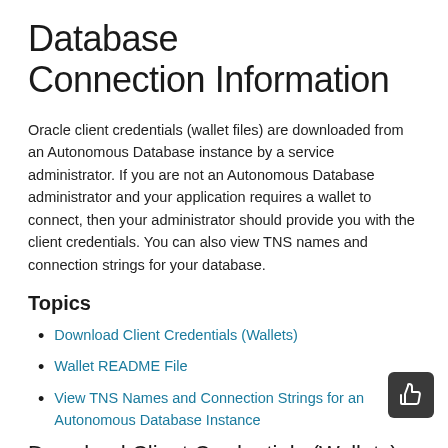Database Connection Information
Oracle client credentials (wallet files) are downloaded from an Autonomous Database instance by a service administrator. If you are not an Autonomous Database administrator and your application requires a wallet to connect, then your administrator should provide you with the client credentials. You can also view TNS names and connection strings for your database.
Topics
Download Client Credentials (Wallets)
Wallet README File
View TNS Names and Connection Strings for an Autonomous Database Instance
Download Client Credentials (Wallets)